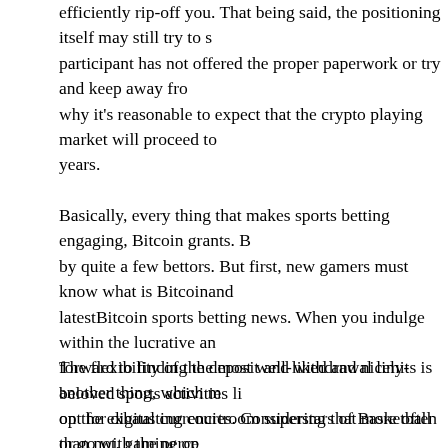efficiently rip-off you. That being said, the positioning itself may still try to s... participant has not offered the proper paperwork or try and keep away fro... why it's reasonable to expect that the crypto playing market will proceed to... years.
Basically, every thing that makes sports betting engaging, Bitcoin grants. B... by quite a few bettors. But first, new gamers must know what is Bitcoinand... latestBitcoin sports betting news. When you indulge within the lucrative an... forward to finding the most well-liked and nicely-beloved sports activities li... on the exhausting courtroom superstars of Basketball or go with the perce...
The flexibility of the deposit and withdrawal limits is another thing, which m... opt for digital currencies. Considering that more often than not, gaming op... and as much as several thousand dollars make digital currencies a perfec... Finally, it ought to be considered that together with the forty two digital cur... are several other components that contribute to the expansion of blockcha... presently, the gambling sector is behind a small portion of the crypto-gamb... it. So far, the largest crash of the market was noticed again in 2018 when... billion.
he discussion app Clubhouse seems to be the most recent online area bl... the Financial Conduct Authority has warned earlier this yr against investin... may be said with extra certainty is social media hype is just felling volatilit...